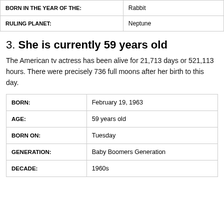| BORN IN THE YEAR OF THE: | Rabbit |
| RULING PLANET: | Neptune |
3. She is currently 59 years old
The American tv actress has been alive for 21,713 days or 521,113 hours. There were precisely 736 full moons after her birth to this day.
| BORN: | February 19, 1963 |
| AGE: | 59 years old |
| BORN ON: | Tuesday |
| GENERATION: | Baby Boomers Generation |
| DECADE: | 1960s |